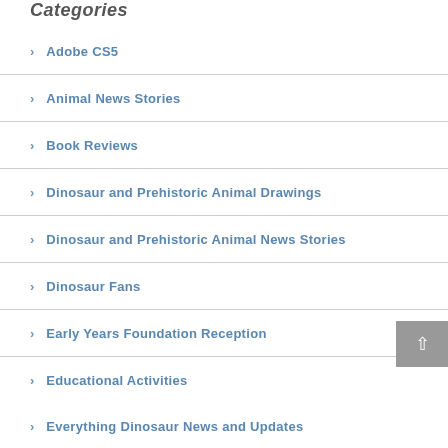Categories
Adobe CS5
Animal News Stories
Book Reviews
Dinosaur and Prehistoric Animal Drawings
Dinosaur and Prehistoric Animal News Stories
Dinosaur Fans
Early Years Foundation Reception
Educational Activities
Everything Dinosaur News and Updates